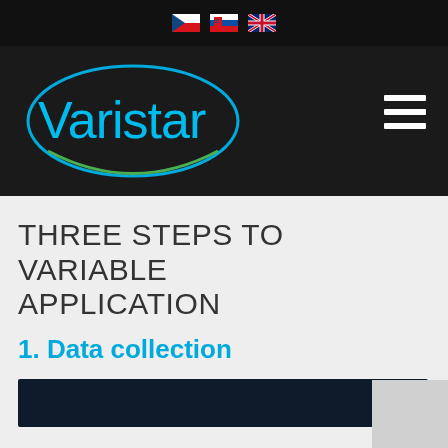[Czech flag] [Slovak flag] [UK flag] language selector
[Figure (logo): Varistar company logo — teal text 'Varistar' with blue oval ellipse outline and green lower arc, on dark background]
THREE STEPS TO VARIABLE APPLICATION
1. Data collection
[Figure (photo): Dark landscape/field photo strip at bottom of visible area]